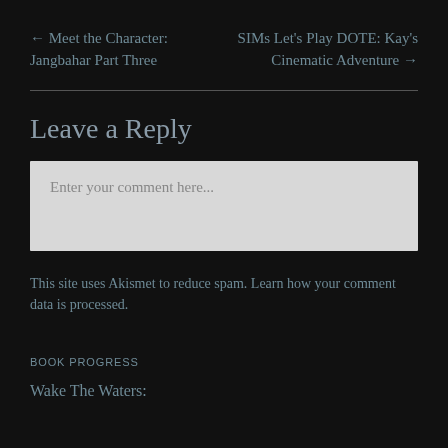← Meet the Character: Jangbahar Part Three
SIMs Let's Play DOTE: Kay's Cinematic Adventure →
Leave a Reply
Enter your comment here...
This site uses Akismet to reduce spam. Learn how your comment data is processed.
BOOK PROGRESS
Wake The Waters: